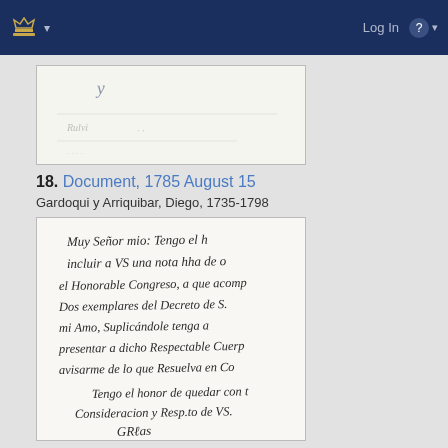Log In
[Figure (photo): Scanned historical handwritten document, partial view showing faded cursive script on aged paper]
18. Document, 1785 August 15
Gardoqui y Arriquibar, Diego, 1735-1798
[Figure (photo): Scanned historical handwritten document in Spanish cursive script, showing text beginning with 'Muy Señor mio: Tengo el h...' and continuing with several lines of 18th century Spanish handwriting, signed at the bottom]